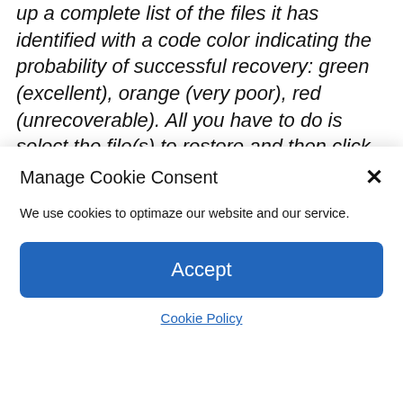up a complete list of the files it has identified with a code color indicating the probability of successful recovery: green (excellent), orange (very poor), red (unrecoverable). All you have to do is select the file(s) to restore and then click on “Recover”.
You will notice that the name of the files is not mentioned but only their type. If you have trouble recognizing them, click on the “Switch to advanced mode” button (yellow
Manage Cookie Consent
We use cookies to optimaze our website and our service.
Accept
Cookie Policy